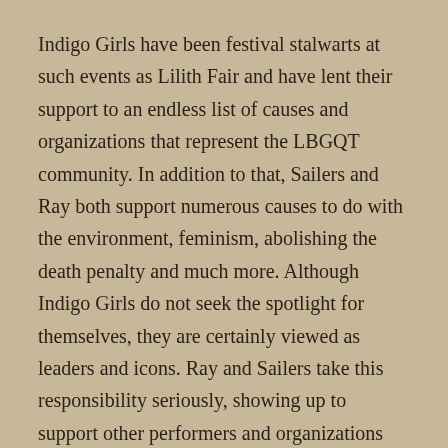Indigo Girls have been festival stalwarts at such events as Lilith Fair and have lent their support to an endless list of causes and organizations that represent the LBGQT community. In addition to that, Sailers and Ray both support numerous causes to do with the environment, feminism, abolishing the death penalty and much more. Although Indigo Girls do not seek the spotlight for themselves, they are certainly viewed as leaders and icons. Ray and Sailers take this responsibility seriously, showing up to support other performers and organizations whenever time allows.
The song, “Closer to Fine” is about finding balance in life. With balance often comes personal happiness and fulfillment. The song speaks of being in bars after